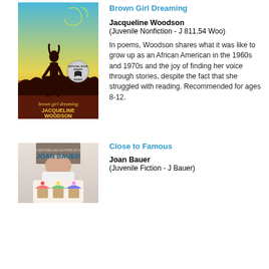Brown Girl Dreaming
[Figure (illustration): Book cover of 'Brown Girl Dreaming' by Jacqueline Woodson, showing a silhouette of a girl standing in a field against a sky background, with National Book Award Winner seal.]
Jacqueline Woodson
(Juvenile Nonfiction - J 811.54 Woo)
In poems, Woodson shares what it was like to grow up as an African American in the 1960s and 1970s and the joy of finding her voice through stories, despite the fact that she struggled with reading. Recommended for ages 8-12.
Close to Famous
[Figure (illustration): Book cover of 'Close to Famous' by Joan Bauer, showing a person holding cupcakes.]
Joan Bauer
(Juvenile Fiction - J Bauer)